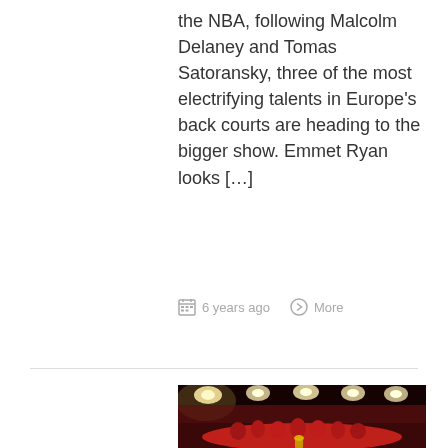the NBA, following Malcolm Delaney and Tomas Satoransky, three of the most electrifying talents in Europe's back courts are heading to the bigger show. Emmet Ryan looks […]
6 years ago   More
[Figure (photo): Basketball team in red jerseys celebrating with a trophy in a packed arena with bright overhead lights]